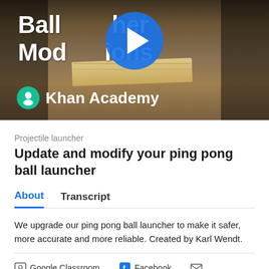[Figure (screenshot): Video thumbnail showing a workshop/workbench scene with wooden plank, tools. Title reads 'Ball Launcher Modifications' overlaid with a large blue play button. Khan Academy logo and name shown at bottom left of thumbnail.]
Projectile launcher
Update and modify your ping pong ball launcher
About   Transcript
We upgrade our ping pong ball launcher to make it safer, more accurate and more reliable. Created by Karl Wendt.
Google Classroom   Facebook